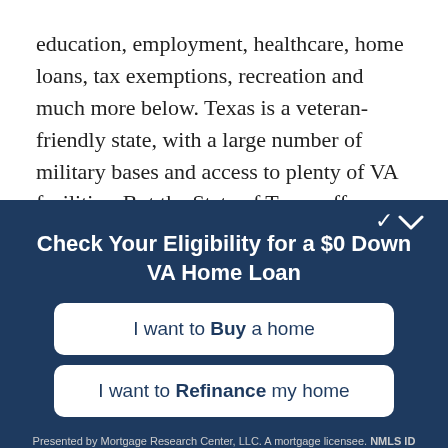education, employment, healthcare, home loans, tax exemptions, recreation and much more below. Texas is a veteran-friendly state, with a large number of military bases and access to plenty of VA facilities. But the State of Texas offers additional programs for veterans and
Check Your Eligibility for a $0 Down VA Home Loan
I want to Buy a home
I want to Refinance my home
Presented by Mortgage Research Center, LLC. A mortgage licensee. NMLS ID 1907. Equal Housing Lender. VA Approved Lender. Not a government agency. ADVERTISING DISCLOSURE